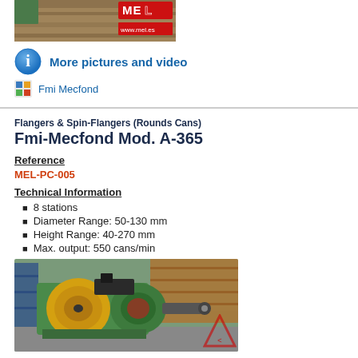[Figure (photo): Product image with MEL logo and www.mel.es URL on red background strip]
More pictures and video
Fmi Mecfond
Flangers & Spin-Flangers (Rounds Cans)
Fmi-Mecfond Mod. A-365
Reference
MEL-PC-005
Technical Information
8 stations
Diameter Range: 50-130 mm
Height Range: 40-270 mm
Max. output: 550 cans/min
[Figure (photo): Photo of the Fmi-Mecfond Mod. A-365 flanger machine in a workshop/factory setting, showing green industrial machinery with yellow rotary component]